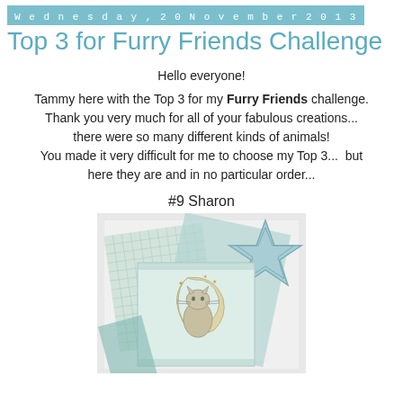Wednesday, 20 November 2013
Top 3 for Furry Friends Challenge
Hello everyone!
Tammy here with the Top 3 for my Furry Friends challenge. Thank you very much for all of your fabulous creations... there were so many different kinds of animals! You made it very difficult for me to choose my Top 3...  but here they are and in no particular order...
#9 Sharon
[Figure (photo): A handmade greeting card featuring a watercolor cat sitting on a crescent moon with stars, layered on teal/blue colored paper pieces with a star embellishment]